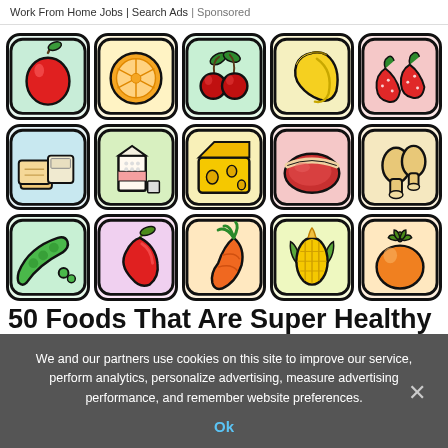Work From Home Jobs | Search Ads | Sponsored
[Figure (illustration): Grid of 15 colorful food illustration icons in 3 rows of 5: Row 1: apple, orange slice, cherries, bananas, strawberries. Row 2: bread/tofu, milk carton, cheese, meat/steak, chicken drumsticks. Row 3: peas/green beans, chili pepper, carrot, corn, tomato.]
50 Foods That Are Super Healthy
We and our partners use cookies on this site to improve our service, perform analytics, personalize advertising, measure advertising performance, and remember website preferences.
Ok